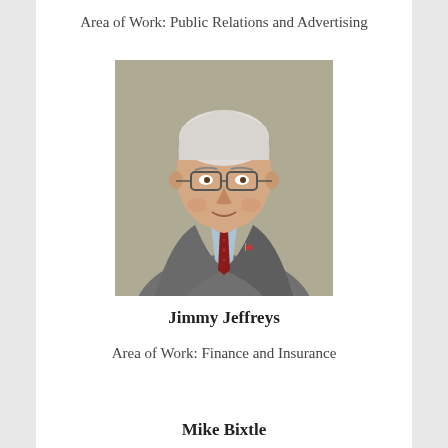Area of Work: Public Relations and Advertising
[Figure (photo): Professional headshot of Jimmy Jeffreys, an older white-haired man wearing glasses, a gray suit, light blue shirt, and red tie with small pattern, small flag pin on lapel. Neutral gray-green background.]
Jimmy Jeffreys
Area of Work: Finance and Insurance
Mike Bixtle